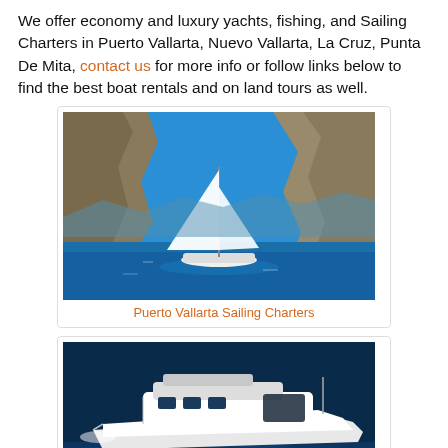We offer economy and luxury yachts, fishing, and Sailing Charters in Puerto Vallarta, Nuevo Vallarta, La Cruz, Punta De Mita, contact us for more info or follow links below to find the best boat rentals and on land tours as well.
[Figure (photo): A white sailboat with tall white sails navigating between large rocky cliffs on bright blue water under a clear blue sky.]
Puerto Vallarta Sailing Charters
[Figure (photo): A sleek white luxury motor yacht speeding across dark blue ocean water, creating a white wake.]